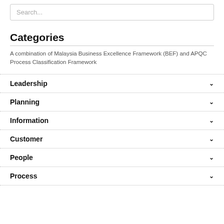Search...
Categories
A combination of Malaysia Business Excellence Framework (BEF) and APQC Process Classification Framework
Leadership
Planning
Information
Customer
People
Process